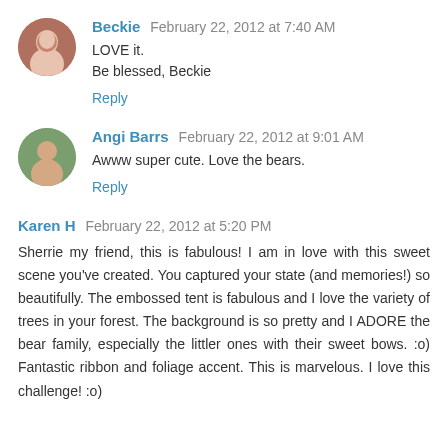Beckie  February 22, 2012 at 7:40 AM
LOVE it.
Be blessed, Beckie
Reply
Angi Barrs  February 22, 2012 at 9:01 AM
Awww super cute. Love the bears.
Reply
Karen H  February 22, 2012 at 5:20 PM
Sherrie my friend, this is fabulous! I am in love with this sweet scene you've created. You captured your state (and memories!) so beautifully. The embossed tent is fabulous and I love the variety of trees in your forest. The background is so pretty and I ADORE the bear family, especially the littler ones with their sweet bows. :o) Fantastic ribbon and foliage accent. This is marvelous. I love this challenge! :o)